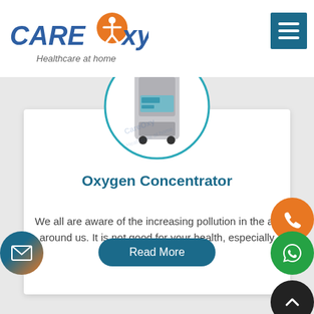[Figure (logo): CareOxy Healthcare at home logo with orange figure and teal circle]
[Figure (photo): Oxygen concentrator medical device shown in a teal circular frame with CareOxy watermark]
Oxygen Concentrator
We all are aware of the increasing pollution in the air around us. It is not good for your health, especially you&rsq...
Read More